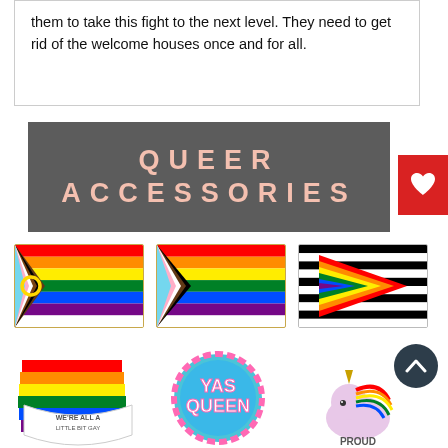them to take this fight to the next level. They need to get rid of the welcome houses once and for all.
[Figure (illustration): Dark gray banner with large pink text reading QUEER ACCESSORIES in bold uppercase spaced letters]
[Figure (photo): Three enamel pins showing pride flag variants: intersex-inclusive progress flag, progress pride flag, and straight ally flag with triangle]
[Figure (photo): Three enamel pins: a rainbow flag banner reading WE'RE ALL A LITTLE BIT GAY, a circular pin reading YAS QUEEN, and a rainbow unicorn reading PROUD]